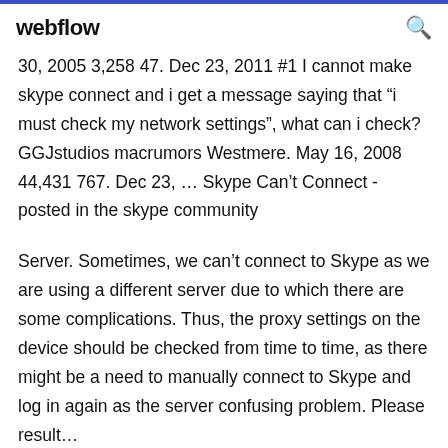webflow
30, 2005 3,258 47. Dec 23, 2011 #1 I cannot make skype connect and i get a message saying that "i must check my network settings", what can i check? GGJstudios macrumors Westmere. May 16, 2008 44,431 767. Dec 23, ... Skype Can't Connect - posted in the skype community
Server. Sometimes, we can't connect to Skype as we are using a different server due to which there are some complications. Thus, the proxy settings on the device should be checked from time to time, as there might be a need to manually connect to Skype and log in again as the server confusing problem. Please result...